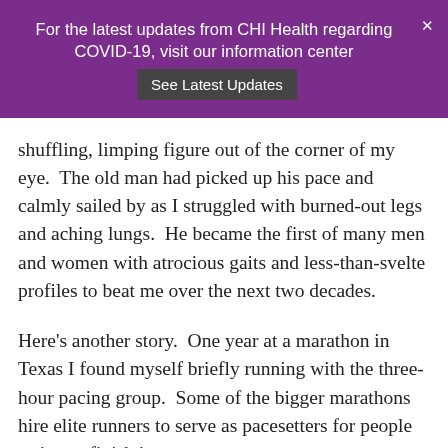For the latest updates from CHI Health regarding COVID-19, visit our information center  See Latest Updates
shuffling, limping figure out of the corner of my eye.  The old man had picked up his pace and calmly sailed by as I struggled with burned-out legs and aching lungs.  He became the first of many men and women with atrocious gaits and less-than-svelte profiles to beat me over the next two decades.
Here's another story.  One year at a marathon in Texas I found myself briefly running with the three-hour pacing group.  Some of the bigger marathons hire elite runners to serve as pacesetters for people trying to finish in a